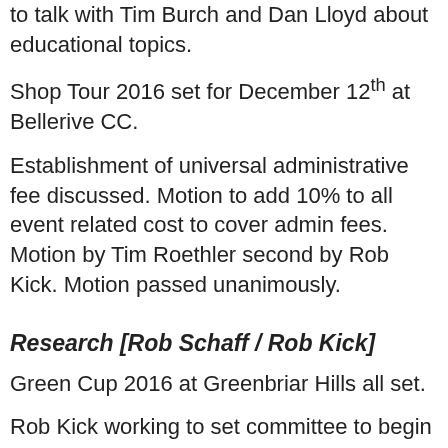to talk with Tim Burch and Dan Lloyd about educational topics.
Shop Tour 2016 set for December 12th at Bellerive CC.
Establishment of universal administrative fee discussed. Motion to add 10% to all event related cost to cover admin fees. Motion by Tim Roethler second by Rob Kick. Motion passed unanimously.
Research [Rob Schaff / Rob Kick]
Green Cup 2016 at Greenbriar Hills all set.
Rob Kick working to set committee to begin work on this year's KIG event. Event date likely move